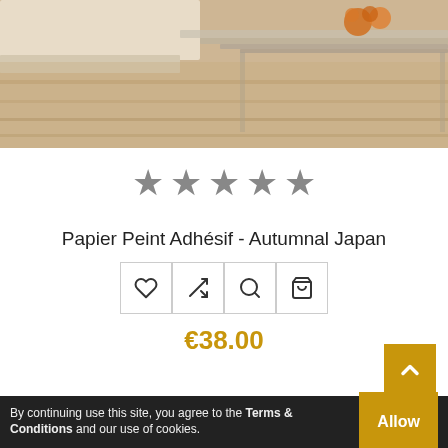[Figure (photo): Product lifestyle photo showing a modern living room with a wood-toned floor, a light sofa partially visible, and a glass coffee table with orange decorative objects.]
[Figure (other): Five grey star icons indicating a rating (no reviews / empty stars)]
Papier Peint Adhésif - Autumnal Japan
[Figure (other): Four action icon buttons in a row: heart (wishlist), shuffle/compare, magnify (zoom), bag (add to cart)]
€38.00
By continuing use this site, you agree to the Terms & Conditions and our use of cookies. Allow